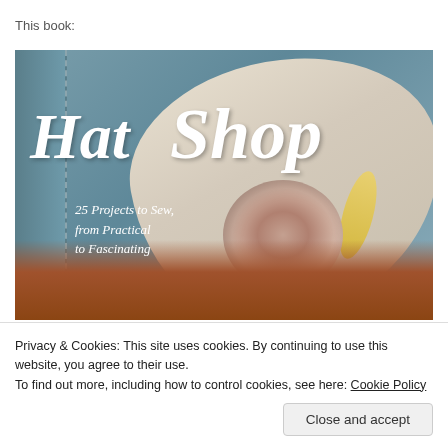This book:
[Figure (photo): Book cover of 'Hat Shop: 25 Projects to Sew, from Practical to Fascinating' showing a woman wearing a large linen hat with a pink fabric rose, photographed from behind.]
Privacy & Cookies: This site uses cookies. By continuing to use this website, you agree to their use.
To find out more, including how to control cookies, see here: Cookie Policy
Close and accept